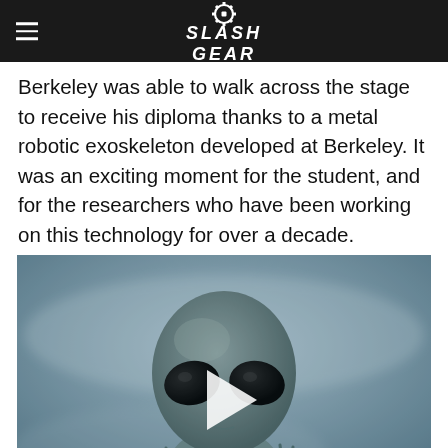SlashGear
Berkeley was able to walk across the stage to receive his diploma thanks to a metal robotic exoskeleton developed at Berkeley. It was an exciting moment for the student, and for the researchers who have been working on this technology for over a decade.
[Figure (photo): Video thumbnail showing a grey alien figure with large dark eyes against a blue-grey foggy background, with a white play button triangle overlay in the center.]